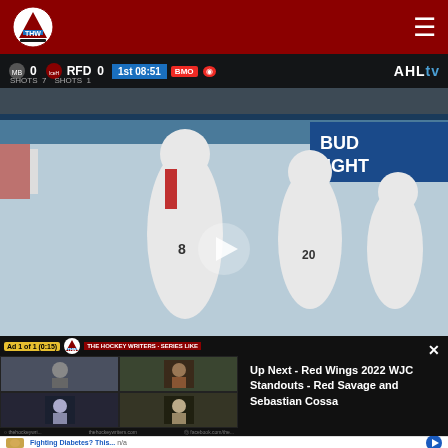THW - The Hockey Writers (navigation bar with logo and hamburger menu)
[Figure (screenshot): AHL hockey game video screenshot showing two players in white Rockford IceHogs jerseys on ice rink with Bud Light advertisement in background. Scoreboard overlay shows MB 0, RFD 0, 1st 08:51. SHOTS 7, SHOTS 1. AHLtv watermark. Play button overlay in center.]
[Figure (screenshot): In-video ad overlay on left: 'Ad 1 of 1 (0:15)' counter in yellow badge, THW logo, 'THE HOCKEY WRITERS SERIES LIKE' text in red bar, four video thumbnail grid showing hockey podcast participants, footer with social media links]
Up Next - Red Wings 2022 WJC Standouts - Red Savage and Sebastian Cossa
point in their places, once they realize the filling of a player
Fighting Diabetes? This...
n/a